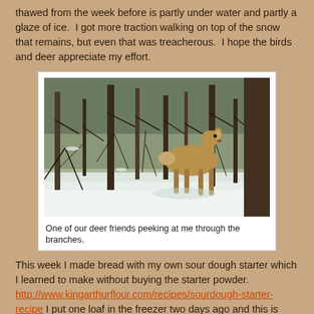thawed from the week before is partly under water and partly a glaze of ice.  I got more traction walking on top of the snow that remains, but even that was treacherous.  I hope the birds and deer appreciate my effort.
[Figure (photo): A deer standing in a snowy wooded area, peeking through bare branches. Winter scene with snow on the ground.]
One of our deer friends peeking at me through the branches.
This week I made bread with my own sour dough starter which I learned to make without buying the starter powder. http://www.kingarthurflour.com/recipes/sourdough-starter-recipe  I put one loaf in the freezer two days ago and this is